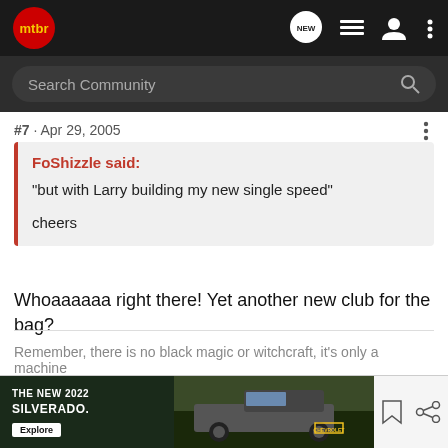mtbr — navigation bar with NEW, list, user, and menu icons; Search Community search bar
#7 · Apr 29, 2005
FoShizzle said:
"but with Larry building my new single speed"

cheers
Whoaaaaaa right there! Yet another new club for the bag?
Remember, there is no black magic or witchcraft, it's only a machine
[Figure (screenshot): Advertisement banner: THE NEW 2022 SILVERADO. Explore button. Chevrolet logo. Photo of Silverado truck in outdoor setting.]